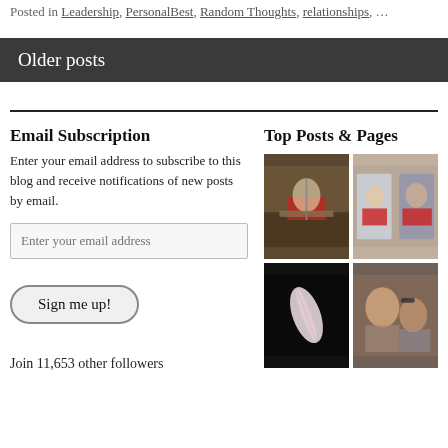Posted in Leadership, PersonalBest, Random Thoughts, relationships, …
Older posts
Email Subscription
Enter your email address to subscribe to this blog and receive notifications of new posts by email.
Join 11,653 other followers
Top Posts & Pages
[Figure (photo): Person jumping with guitar on a stage or bed]
[Figure (photo): Two young women/girls holding red boxes]
[Figure (photo): White feather on dark background]
[Figure (photo): Man with glasses and a girl, smiling]